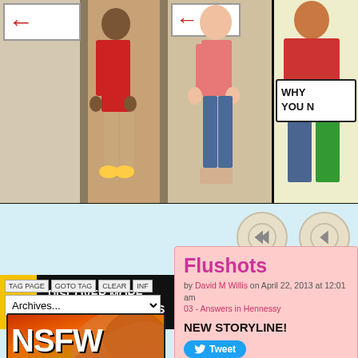[Figure (illustration): Webcomic strip showing characters in a hallway with signs. Left panel shows figures with a red arrow sign, center panel shows a character in a pink top and jeans. Right panel shows partial character with speech bubble saying WHY YOU N...]
[Figure (illustration): Navigation buttons: double left arrow labeled First and single left arrow labeled Previous, on light blue background]
[Figure (infographic): Hiveworks Comics discovery banner - yellow background with black text box saying DISCOVER MORE HIVEWORKS COMICS, followed by comic character preview images]
TAG PAGE  GOTO TAG  CLEAR  INF
Archives...
Flushots
by David M Willis on April 22, 2013 at 12:01 am 03 - Answers in Hennessy
NEW STORYLINE!
Tweet
Like  Sign Up to see what your friends like.
[Figure (illustration): NSFW book cover with orange and red illustrated artwork showing character with orange hair]